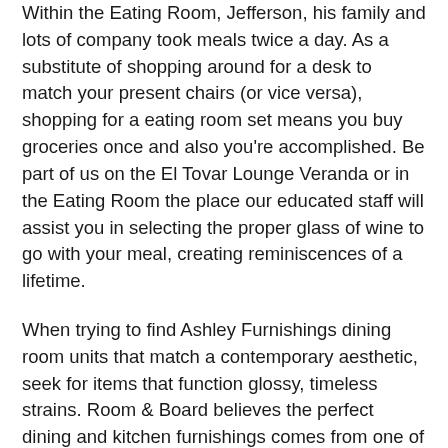Within the Eating Room, Jefferson, his family and lots of company took meals twice a day. As a substitute of shopping around for a desk to match your present chairs (or vice versa), shopping for a eating room set means you buy groceries once and also you're accomplished. Be part of us on the El Tovar Lounge Veranda or in the Eating Room the place our educated staff will assist you in selecting the proper glass of wine to go with your meal, creating reminiscences of a lifetime.
When trying to find Ashley Furnishings dining room units that match a contemporary aesthetic, seek for items that function glossy, timeless strains. Room & Board believes the perfect dining and kitchen furnishings comes from one of the best supplies, so we use sustainably sourced materials in our furniture as a lot as possible.
Plus, you can at all times add stylish gadgets to your space with decor and residential accents Fashionable fashion aficionados can discover mid-century impressed dining room